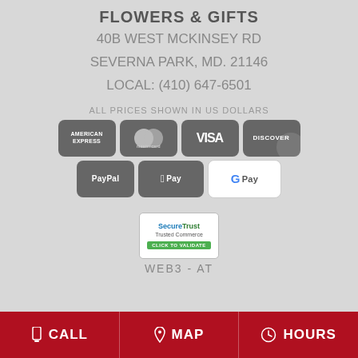FLOWERS & GIFTS
40B WEST MCKINSEY RD
SEVERNA PARK, MD. 21146
LOCAL: (410) 647-6501
ALL PRICES SHOWN IN US DOLLARS
[Figure (logo): Payment method icons: American Express, Mastercard, Visa, Discover, PayPal, Apple Pay, Google Pay]
[Figure (logo): SecureTrust Trusted Commerce - Click to Validate badge]
WEB3 - AT
CALL   MAP   HOURS